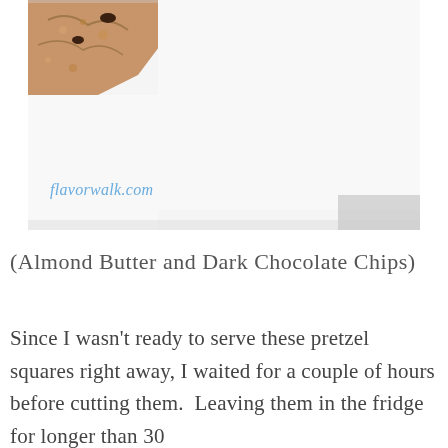[Figure (photo): Close-up photo of a pretzel square with almond butter and dark chocolate chips, partially visible in the upper-left corner against a white background. The flavorwalk.com watermark appears in blue italic text in the lower-left of the image.]
(Almond Butter and Dark Chocolate Chips)
Since I wasn't ready to serve these pretzel squares right away, I waited for a couple of hours before cutting them.  Leaving them in the fridge for longer than 30